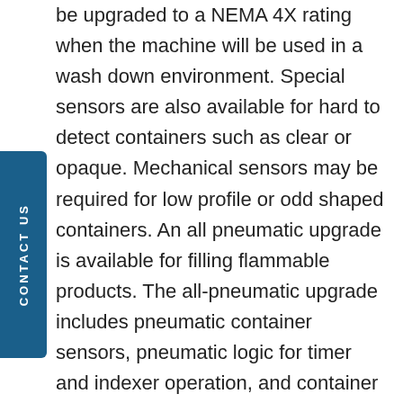be upgraded to a NEMA 4X rating when the machine will be used in a wash down environment. Special sensors are also available for hard to detect containers such as clear or opaque. Mechanical sensors may be required for low profile or odd shaped containers. An all pneumatic upgrade is available for filling flammable products. The all-pneumatic upgrade includes pneumatic container sensors, pneumatic logic for timer and indexer operation, and container counting. The control package on the Automatic Models include an alpha-numeric display, easy to set up and adjust display menus, total bottle counter, six up or step fill modes of operation, and "No Bottle – No Fill" function. All the menus can be adjusted on the fly to maintain throughput while making minor adjustments. The all fill